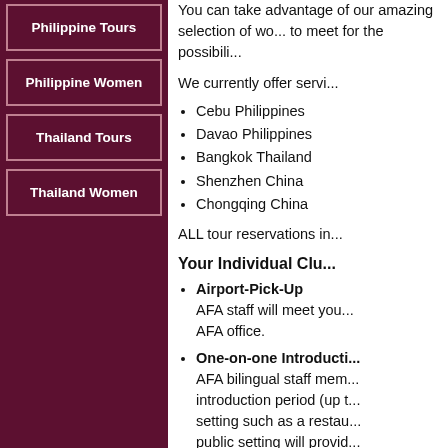Philippine Tours
Philippine Women
Thailand Tours
Thailand Women
You can take advantage of our amazing selection of wo... to meet for the possibili...
We currently offer servi...
Cebu Philippines
Davao Philippines
Bangkok Thailand
Shenzhen China
Chongqing China
ALL tour reservations in...
Your Individual Clu...
Airport-Pick-Up — AFA staff will meet you ... AFA office.
One-on-one Introducti... — AFA bilingual staff mem... introduction period (up t... setting such as a restau... public setting will provid... choose the cafe you sh... necessary.